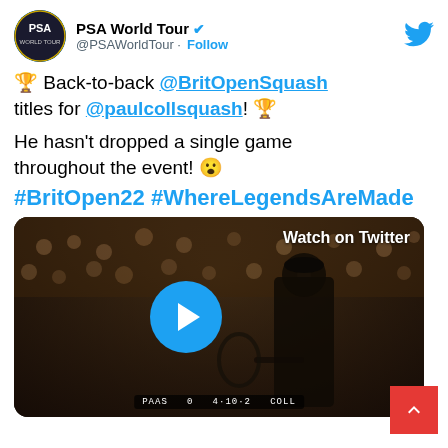PSA World Tour @PSAWorldTour · Follow
🏆 Back-to-back @BritOpenSquash titles for @paulcollsquash! 🏆
He hasn't dropped a single game throughout the event! 😮
#BritOpen22 #WhereLegendsAreMade
[Figure (screenshot): Video thumbnail showing a squash player on court with crowd in background, with a blue play button overlay and 'Watch on Twitter' label. Score overlay shows PAAS 0 4-10-2 COLL.]